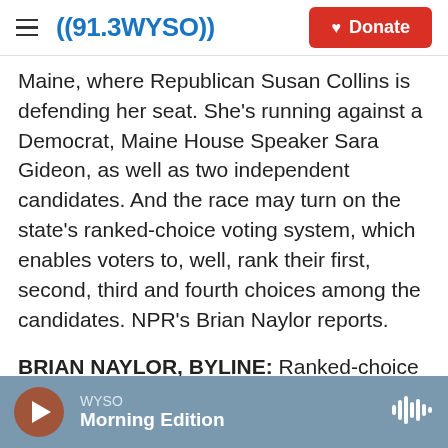≡  ((91.3WYSO))   ♥ Donate
Maine, where Republican Susan Collins is defending her seat. She's running against a Democrat, Maine House Speaker Sara Gideon, as well as two independent candidates. And the race may turn on the state's ranked-choice voting system, which enables voters to, well, rank their first, second, third and fourth choices among the candidates. NPR's Brian Naylor reports.
BRIAN NAYLOR, BYLINE: Ranked-choice voting to someone not familiar with the process sounds complex, but Cara McCormick, co-founder of the Committee for Ranked Choice Voting, says it's
WYSO  Morning Edition